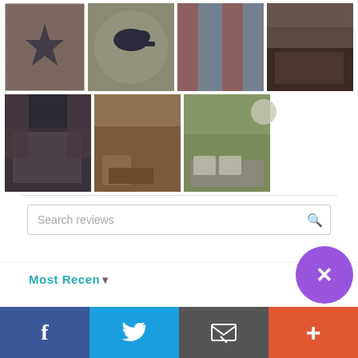[Figure (photo): Grid of 7 home interior/decor photos: quilts, rugs, bedroom, living room with recliner, sofa]
Search reviews
Most Recent
[Figure (screenshot): Purple circle with X button overlapping bottom section]
Facebook | Twitter | Mail | Plus — social sharing bottom bar